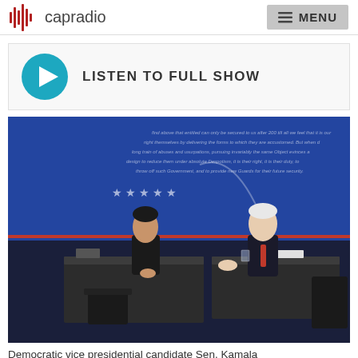capradio | MENU
[Figure (other): Listen to Full Show button with teal play circle icon]
[Figure (photo): Democratic vice presidential debate photo showing Sen. Kamala Harris on the left at a desk and Vice President Mike Pence on the right at a desk, separated by a plexiglass barrier, with a blue debate backdrop behind them.]
Democratic vice presidential candidate Sen. Kamala